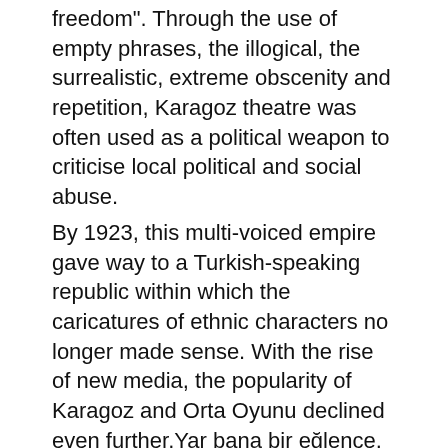freedom". Through the use of empty phrases, the illogical, the surrealistic, extreme obscenity and repetition, Karagoz theatre was often used as a political weapon to criticise local political and social abuse. By 1923, this multi-voiced empire gave way to a Turkish-speaking republic within which the caricatures of ethnic characters no longer made sense. With the rise of new media, the popularity of Karagoz and Orta Oyunu declined even further.Yar bana bir eğlence. Notes on Parrhesia. reflects upon the term “parrhesia”, which implies not only freedom of speech, but also the obligation to speak the truth for the common good, even at personal risk, by questioning how the notion of entertainment relates to personal expression and public participation. This is where the artist links to the Gezi Park protests in 2013, in which humor and creativity were key elements in mocking the political regimes. Filmic fragments from National Cypriot television archive alternate with the voices of Cypriot, Greek and Turkish Karagoz masters discussing language, history,